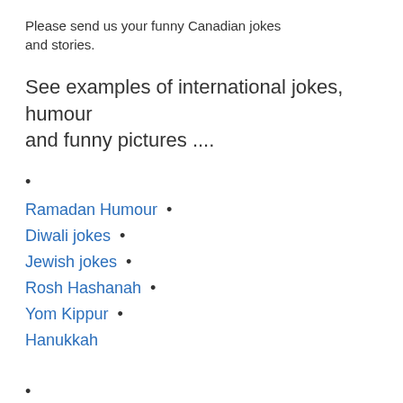Please send us your funny Canadian jokes and stories.
See examples of international jokes, humour and funny pictures ....
Ramadan Humour
Diwali jokes
Jewish jokes
Rosh Hashanah
Yom Kippur
Hanukkah
French jokes